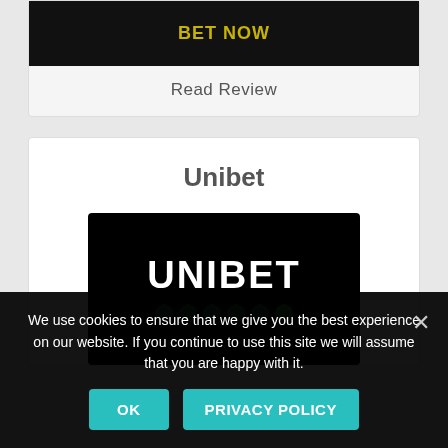BET NOW
Read Review
Unibet
[Figure (logo): Unibet logo: white bold text 'UNIBET' on black background with green dots below]
We use cookies to ensure that we give you the best experience on our website. If you continue to use this site we will assume that you are happy with it.
OK
PRIVACY POLICY